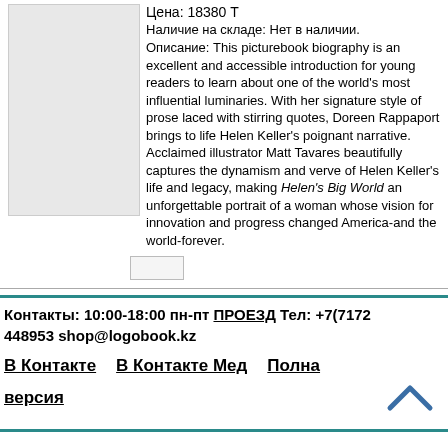[Figure (other): Book cover image placeholder, light gray rectangle]
Цена: 18380 Т
Наличие на складе: Нет в наличии.
Описание: This picturebook biography is an excellent and accessible introduction for young readers to learn about one of the world's most influential luminaries. With her signature style of prose laced with stirring quotes, Doreen Rappaport brings to life Helen Keller's poignant narrative. Acclaimed illustrator Matt Tavares beautifully captures the dynamism and verve of Helen Keller's life and legacy, making Helen's Big World an unforgettable portrait of a woman whose vision for innovation and progress changed America-and the world-forever.
Контакты: 10:00-18:00 пн-пт ПРОЕЗД Тел: +7(7172 448953 shop@logobook.kz
В Контакте   В Контакте Мед   Полна версия